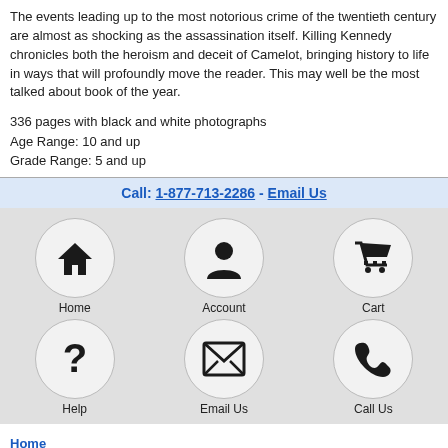The events leading up to the most notorious crime of the twentieth century are almost as shocking as the assassination itself. Killing Kennedy chronicles both the heroism and deceit of Camelot, bringing history to life in ways that will profoundly move the reader. This may well be the most talked about book of the year.
336 pages with black and white photographs
Age Range: 10 and up
Grade Range: 5 and up
Call: 1-877-713-2286 - Email Us
[Figure (infographic): Six circular icon buttons in a 2x3 grid on gray background: Home (house icon), Account (person icon), Cart (shopping cart icon), Help (question mark icon), Email Us (envelope icon), Call Us (phone icon)]
Home
Cart
Email Customer Service
Order Toll Free: 1-877-713-2286